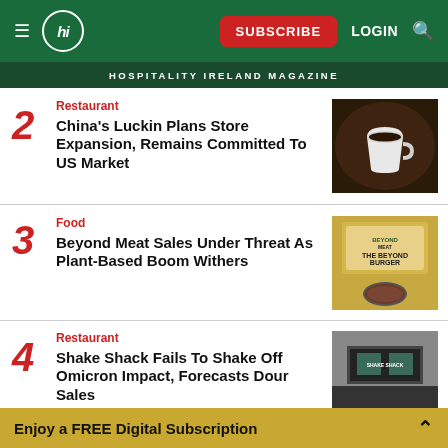hi — SUBSCRIBE LOGIN Search — Hospitality Ireland Magazine
2 Restaurant — China's Luckin Plans Store Expansion, Remains Committed To US Market
3 Food — Beyond Meat Sales Under Threat As Plant-Based Boom Withers
4 Restaurant — Shake Shack Fails To Shake Off Omicron Impact, Forecasts Dour Sales
Enjoy a FREE Digital Subscription